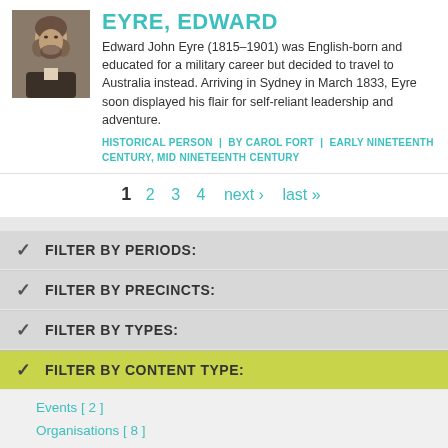[Figure (photo): Black and white portrait photograph of Edward Eyre, a bearded man from the 19th century]
EYRE, EDWARD
Edward John Eyre (1815–1901) was English-born and educated for a military career but decided to travel to Australia instead. Arriving in Sydney in March 1833, Eyre soon displayed his flair for self-reliant leadership and adventure.
HISTORICAL PERSON  |  BY CAROL FORT  |  EARLY NINETEENTH CENTURY, MID NINETEENTH CENTURY
1  2  3  4  next ›  last »
FILTER BY PERIODS:
FILTER BY PRECINCTS:
FILTER BY TYPES:
FILTER BY CONTENT TYPE:
Events [ 2 ]
Organisations [ 8 ]